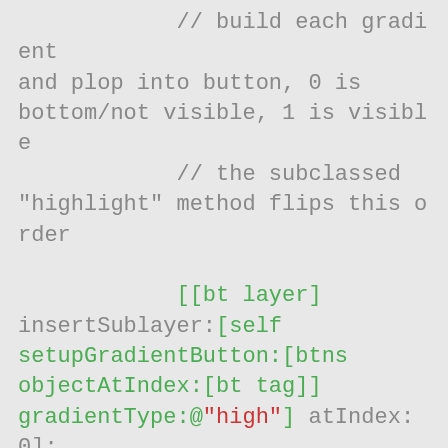// build each gradient and plop into button, 0 is bottom/not visible, 1 is visible
            // the subclassed "highlight" method flips this order

            [[bt layer]
 insertSublayer:[self
 setupGradientButton:[btns
 objectAtIndex:[bt tag]]
 gradientType:@"high"] atIndex:0];

            [[bt layer]
 insertSublayer:[self
 setupGradientButton:[btns
 objectAtIndex:[bt tag]]